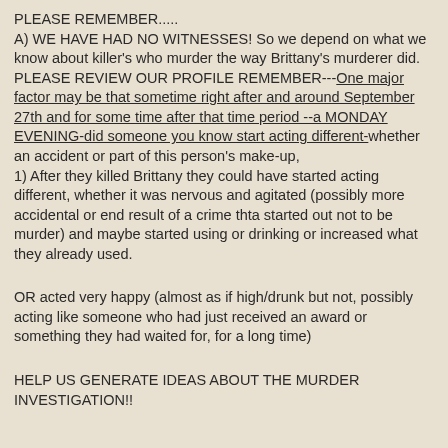PLEASE REMEMBER.....
A) WE HAVE HAD NO WITNESSES! So we depend on what we know about killer's who murder the way Brittany's murderer did. PLEASE REVIEW OUR PROFILE REMEMBER---One major factor may be that sometime right after and around September 27th and for some time after that time period --a MONDAY EVENING-did someone you know start acting different-whether an accident or part of this person's make-up,
1) After they killed Brittany they could have started acting different, whether it was nervous and agitated (possibly more accidental or end result of a crime thta started out not to be murder) and maybe started using or drinking or increased what they already used.
OR acted very happy (almost as if high/drunk but not, possibly acting like someone who had just received an award or something they had waited for, for a long time)
HELP US GENERATE IDEAS ABOUT THE MURDER INVESTIGATION!!